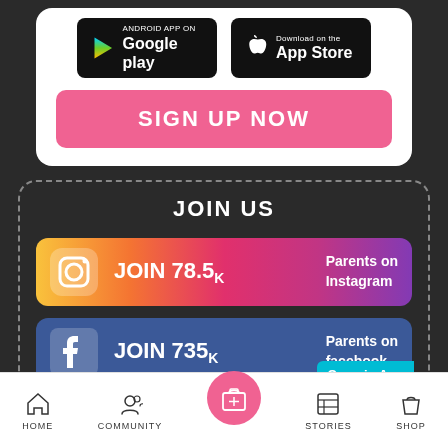[Figure (screenshot): Google Play and App Store download buttons on white card]
SIGN UP NOW
JOIN US
[Figure (infographic): Instagram JOIN 78.5k Parents on Instagram button with gradient background]
[Figure (infographic): Facebook JOIN 735k Parents on facebook button with blue background and Open in App label]
HOME  COMMUNITY  STORIES  SHOP